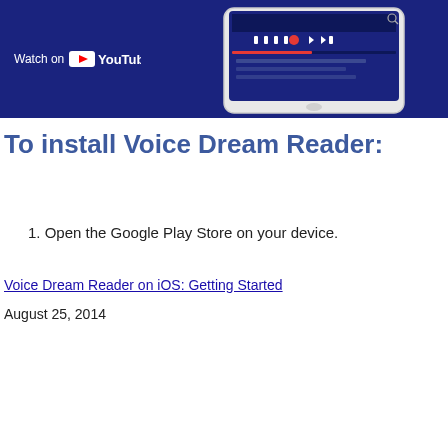[Figure (screenshot): Dark blue banner with 'Watch on YouTube' logo on the left and a tablet screenshot of Voice Dream Reader app on the right]
To install Voice Dream Reader:
1. Open the Google Play Store on your device.
Voice Dream Reader on iOS: Getting Started
August 25, 2014